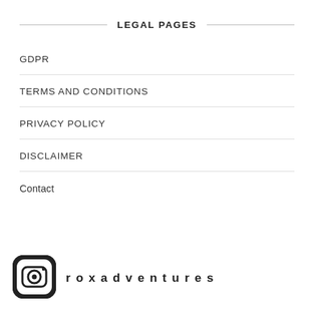LEGAL PAGES
GDPR
TERMS AND CONDITIONS
PRIVACY POLICY
DISCLAIMER
Contact
[Figure (logo): Instagram logo icon (rounded square with camera outline)]
roxadventures